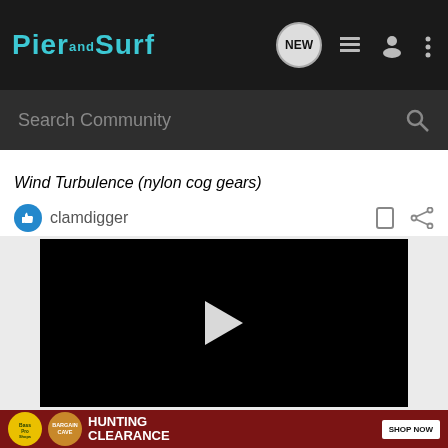[Figure (screenshot): Pier and Surf community website navigation bar with logo, NEW chat bubble icon, list icon, user icon, and more icon]
Search Community
Wind Turbulence (nylon cog gears)
clamdigger
[Figure (screenshot): Video player with black background and white play button triangle in center]
[Figure (screenshot): Bass Pro Shops advertisement banner - Hunting Clearance Bargain Cave - Shop Now button]